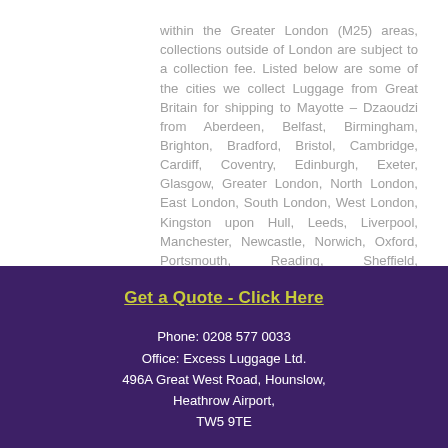within the Greater London (M25) areas, collections outside of London are subject to a collection fee. Listed below are some of the cities we collect Luggage from Great Britain for shipping to Mayotte – Dzaoudzi from Aberdeen, Belfast, Birmingham, Brighton, Bradford, Bristol, Cambridge, Cardiff, Coventry, Edinburgh, Exeter, Glasgow, Greater London, North London, East London, South London, West London, Kingston upon Hull, Leeds, Liverpool, Manchester, Newcastle, Norwich, Oxford, Portsmouth, Reading, Sheffield, Southampton and Swindon.
Get a Quote - Click Here
Phone: 0208 577 0033
Office: Excess Luggage Ltd.
496A Great West Road, Hounslow,
Heathrow Airport,
TW5 9TE